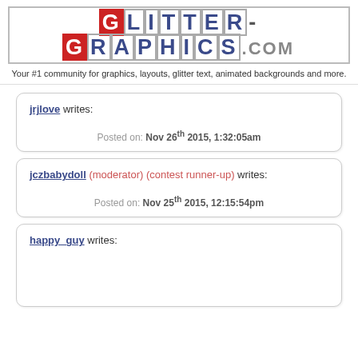[Figure (logo): Glitter-Graphics.com logo with decorative letter tiles in red, dark, and blue colors]
Your #1 community for graphics, layouts, glitter text, animated backgrounds and more.
jrjlove writes: Posted on: Nov 26th 2015, 1:32:05am
jczbabydoll (moderator) (contest runner-up) writes: Posted on: Nov 25th 2015, 12:15:54pm
happy_guy writes: